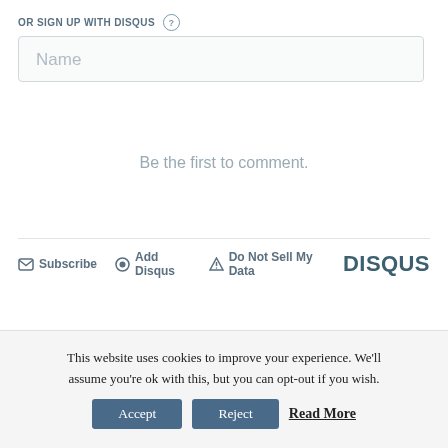OR SIGN UP WITH DISQUS ?
Name
Be the first to comment.
Subscribe  Add Disqus  Do Not Sell My Data  DISQUS
This website uses cookies to improve your experience. We'll assume you're ok with this, but you can opt-out if you wish.
Accept  Reject  Read More